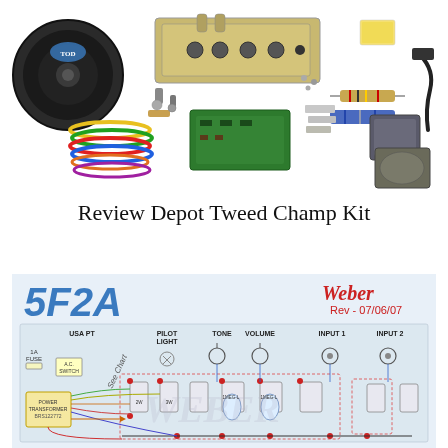[Figure (photo): Photograph of the Depot Tweed Champ Kit components laid out, including a speaker, chassis, circuit board, capacitors, resistors, transformers, wiring, and other electronic parts.]
Review Depot Tweed Champ Kit
[Figure (schematic): Weber 5F2A amplifier wiring schematic diagram, Rev 07/06/07. Shows full circuit layout including USA PT power transformer, 1A fuse, AC switch, pilot light, tone and volume controls, input 1 and input 2 jacks, tubes, and all associated components and wiring connections.]